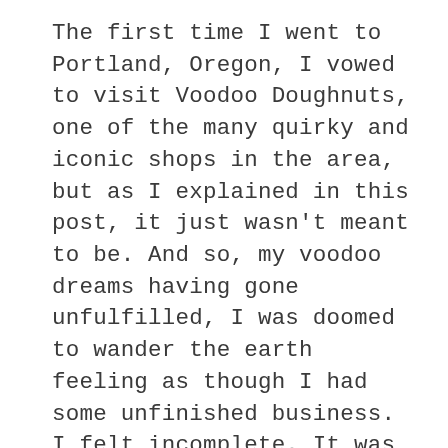The first time I went to Portland, Oregon, I vowed to visit Voodoo Doughnuts, one of the many quirky and iconic shops in the area, but as I explained in this post, it just wasn't meant to be. And so, my voodoo dreams having gone unfulfilled, I was doomed to wander the earth feeling as though I had some unfinished business. I felt incomplete. It was even worse than never having gone to my high school